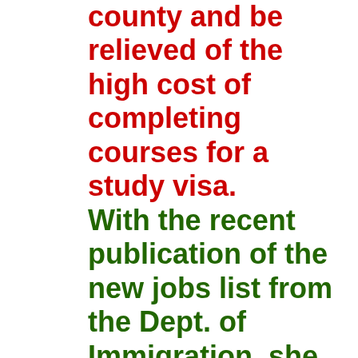county and be relieved of the high cost of completing courses for a study visa. With the recent publication of the new jobs list from the Dept. of Immigration, she now qualifies to remain in Australia, pursue her studies and get her qualification that will